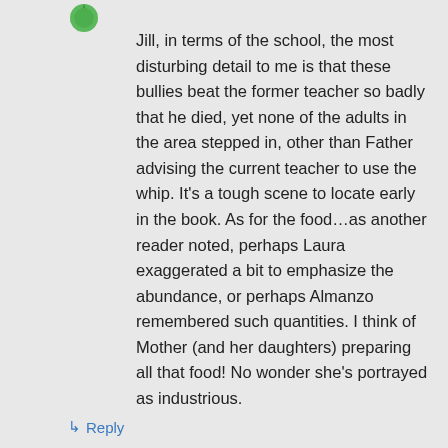[Figure (illustration): Green spiky avatar/icon in top left area]
Jill, in terms of the school, the most disturbing detail to me is that these bullies beat the former teacher so badly that he died, yet none of the adults in the area stepped in, other than Father advising the current teacher to use the whip. It's a tough scene to locate early in the book. As for the food…as another reader noted, perhaps Laura exaggerated a bit to emphasize the abundance, or perhaps Almanzo remembered such quantities. I think of Mother (and her daughters) preparing all that food! No wonder she's portrayed as industrious.
↳ Reply